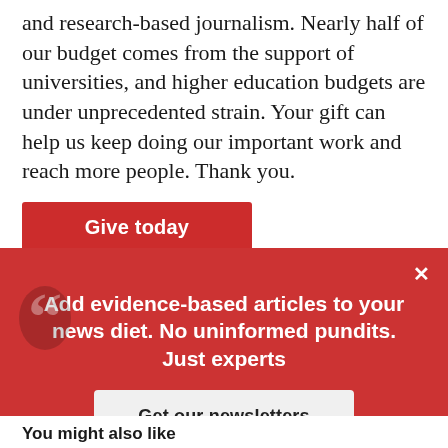and research-based journalism. Nearly half of our budget comes from the support of universities, and higher education budgets are under unprecedented strain. Your gift can help us keep doing our important work and reach more people. Thank you.
Give today
Beth Daley
Editor and General Manager
[Figure (screenshot): Red popup overlay with close button (×), a large quotation mark icon, bold white text reading 'Add evidence-based articles to your news diet. No uninformed pundits. Just experts', and a light grey button 'Get our newsletters']
You might also like